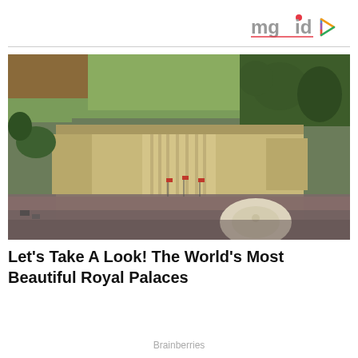[Figure (logo): mgid logo with colorful play button icon]
[Figure (photo): Aerial photograph of Buckingham Palace in London with large crowds gathered in the forecourt and surrounding area, green parkland visible in the background]
Let's Take A Look! The World's Most Beautiful Royal Palaces
Brainberries